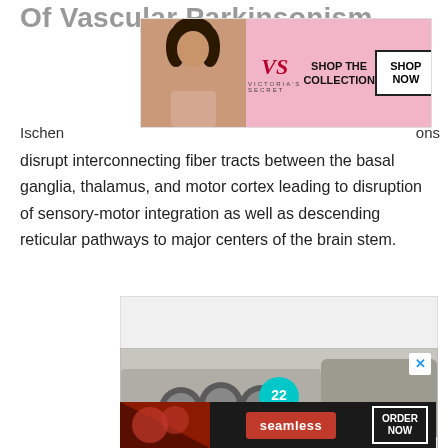Of Vascular Parkinsonism
[Figure (other): Victoria's Secret advertisement banner with model photo, VS logo, 'SHOP THE COLLECTION' text and 'SHOP NOW' button]
Ischemic lesions disrupt interconnecting fiber tracts between the basal ganglia, thalamus, and motor cortex leading to disruption of sensory-motor integration as well as descending reticular pathways to major centers of the brain stem.
[Figure (other): Advertisement: '37 HOME AND KITCHEN ITEMS EVERYONE SHOULD OWN' - Mueller brand, showing kitchen knife sharpener, with badge '22', close button]
[Figure (other): Seamless food delivery advertisement with pizza image, seamless logo and ORDER NOW button]